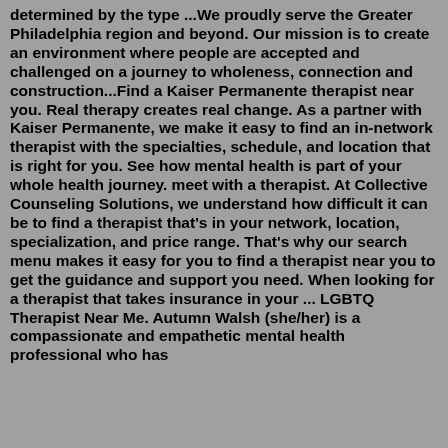determined by the type ...We proudly serve the Greater Philadelphia region and beyond. Our mission is to create an environment where people are accepted and challenged on a journey to wholeness, connection and construction...Find a Kaiser Permanente therapist near you. Real therapy creates real change. As a partner with Kaiser Permanente, we make it easy to find an in-network therapist with the specialties, schedule, and location that is right for you. See how mental health is part of your whole health journey. meet with a therapist. At Collective Counseling Solutions, we understand how difficult it can be to find a therapist that's in your network, location, specialization, and price range. That's why our search menu makes it easy for you to find a therapist near you to get the guidance and support you need. When looking for a therapist that takes insurance in your ... LGBTQ Therapist Near Me. Autumn Walsh (she/her) is a compassionate and empathetic mental health professional who has